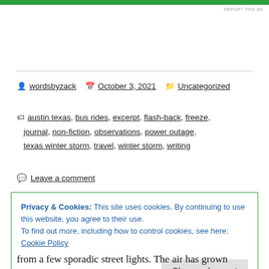[Figure (other): Green advertisement bar at top of page with 'REPORT THIS AD' label]
wordsbyzack   October 3, 2021   Uncategorized
austin texas, bus rides, excerpt, flash-back, freeze, journal, non-fiction, observations, power outage, texas winter storm, travel, winter storm, writing
Leave a comment
Privacy & Cookies: This site uses cookies. By continuing to use this website, you agree to their use.
To find out more, including how to control cookies, see here: Cookie Policy
[Close and accept]
from a few sporadic street lights. The air has grown